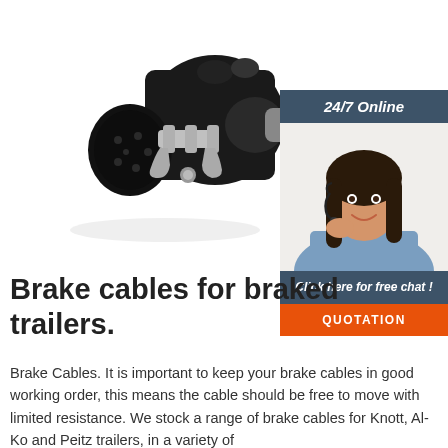[Figure (photo): Black brake cable connector/coupling device for trailers, with metal clamp mechanism, photographed on white background]
[Figure (photo): Customer service representative woman with headset smiling, with '24/7 Online' header banner and 'Click here for free chat!' call-to-action with QUOTATION button]
Brake cables for braked trailers.
Brake Cables. It is important to keep your brake cables in good working order, this means the cable should be free to move with limited resistance. We stock a range of brake cables for Knott, Al-Ko and Peitz trailers, in a variety of